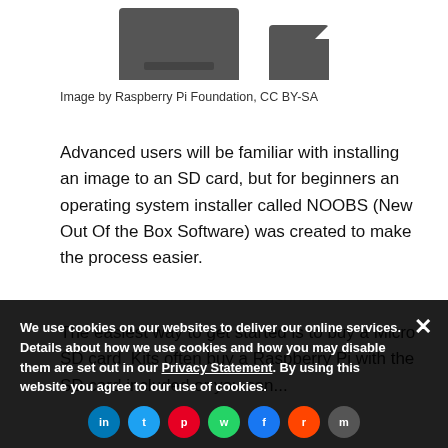[Figure (photo): Two SD cards (one large, one micro) shown from above against white background]
Image by Raspberry Pi Foundation, CC BY-SA
Advanced users will be familiar with installing an image to an SD card, but for beginners an operating system installer called NOOBS (New Out Of the Box Software) was created to make the process easier.
The easiest way to get started is to buy a Micro SD card. Kits often buy a Raspberry Pi with the SD card included or you can...
We use cookies on our websites to deliver our online services. Details about how we use cookies and how you may disable them are set out in our Privacy Statement. By using this website you agree to our use of cookies.